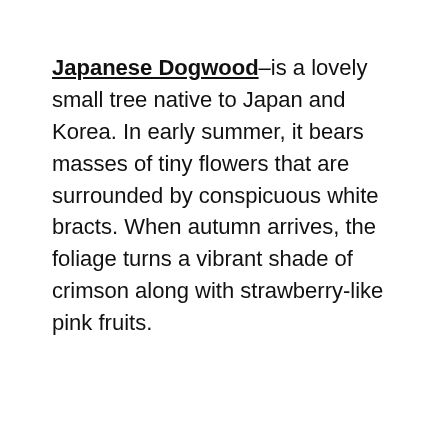Japanese Dogwood–is a lovely small tree native to Japan and Korea. In early summer, it bears masses of tiny flowers that are surrounded by conspicuous white bracts. When autumn arrives, the foliage turns a vibrant shade of crimson along with strawberry-like pink fruits.